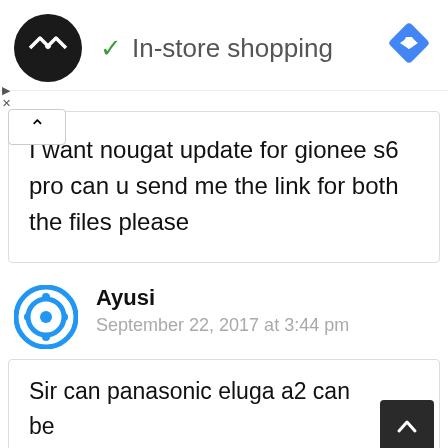✓ In-store shopping
I want nougat update for gionee s6 pro can u send me the link for both the files please
Ayusi
September 22, 2017 at 3:44 pm
Sir can panasonic eluga a2 can be